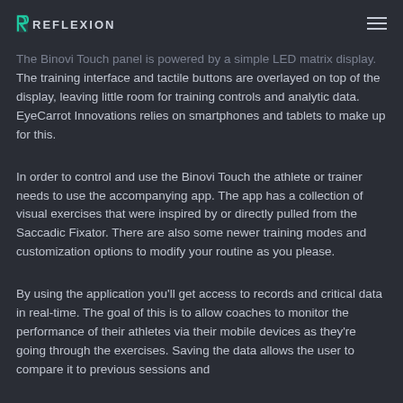REFLEXION
The Binovi Touch panel is powered by a simple LED matrix display. The training interface and tactile buttons are overlayed on top of the display, leaving little room for training controls and analytic data. EyeCarrot Innovations relies on smartphones and tablets to make up for this.
In order to control and use the Binovi Touch the athlete or trainer needs to use the accompanying app. The app has a collection of visual exercises that were inspired by or directly pulled from the Saccadic Fixator. There are also some newer training modes and customization options to modify your routine as you please.
By using the application you'll get access to records and critical data in real-time. The goal of this is to allow coaches to monitor the performance of their athletes via their mobile devices as they're going through the exercises. Saving the data allows the user to compare it to previous sessions and